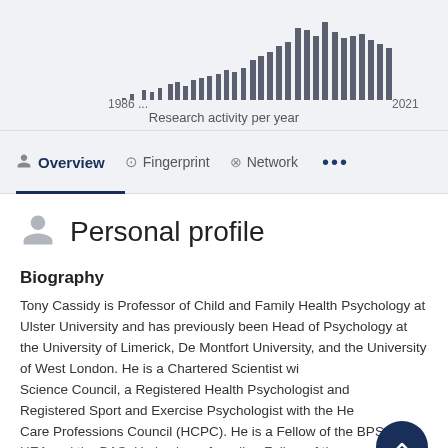[Figure (histogram): Bar histogram showing research activity per year from 1986 to 2021]
Research activity per year
Personal profile
Biography
Tony Cassidy is Professor of Child and Family Health Psychology at Ulster University and has previously been Head of Psychology at the University of Limerick, De Montfort University, and the University of West London. He is a Chartered Scientist with the Science Council, a Registered Health Psychologist and Registered Sport and Exercise Psychologist with the Health and Care Professions Council (HCPC). He is a Fellow of the BPS, the HEA and the BAS. He is also a founding Fellow of the...